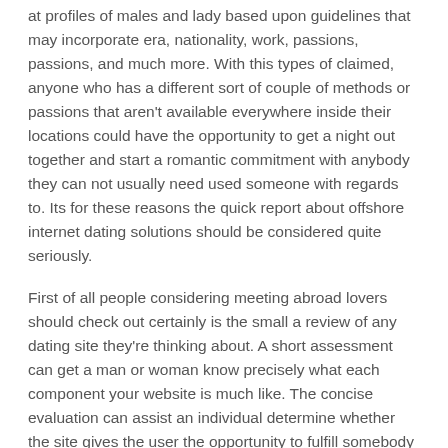at profiles of males and lady based upon guidelines that may incorporate era, nationality, work, passions, passions, and much more. With this types of claimed, anyone who has a different sort of couple of methods or passions that aren't available everywhere inside their locations could have the opportunity to get a night out together and start a romantic commitment with anybody they can not usually need used someone with regards to. Its for these reasons the quick report about offshore internet dating solutions should be considered quite seriously.
First of all people considering meeting abroad lovers should check out certainly is the small a review of any dating site they're thinking about. A short assessment can get a man or woman know precisely what each component your website is much like. The concise evaluation can assist an individual determine whether the site gives the user the opportunity to fulfill somebody that is compatible with his or her personal needs. It will likewise let them determine whether the site offers any helpful attributes which benefits them or enable them to relate solely to people. If a individual is actually contemplating finding special someone offshore, a great dating internet site will give you them various handy specifications.